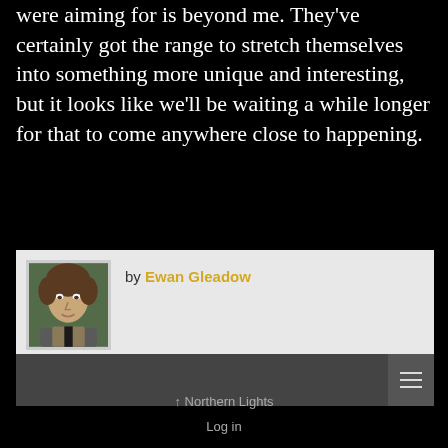were aiming for is beyond me. They've certainly got the range to stretch themselves into something more unique and interesting, but it looks like we'll be waiting a while longer for that to come anywhere close to happening.
[Figure (photo): Author card with portrait photo of Ewan Gleadow (young man with curly hair wearing a jacket) on the left, and 'by Ewan Gleadow' text on the right, on a light grey background.]
[Figure (other): Dark grey navigation bar with a hamburger menu icon on the right side.]
↑ Northern Lights
Log in